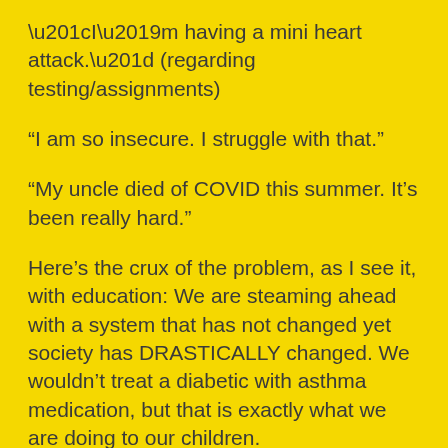“I’m having a mini heart attack.” (regarding testing/assignments)
“I am so insecure. I struggle with that.”
“My uncle died of COVID this summer. It’s been really hard.”
Here’s the crux of the problem, as I see it, with education: We are steaming ahead with a system that has not changed yet society has DRASTICALLY changed. We wouldn’t treat a diabetic with asthma medication, but that is exactly what we are doing to our children.
Our students are hungry for engagement, compassion, and challenges that help them grow academically.